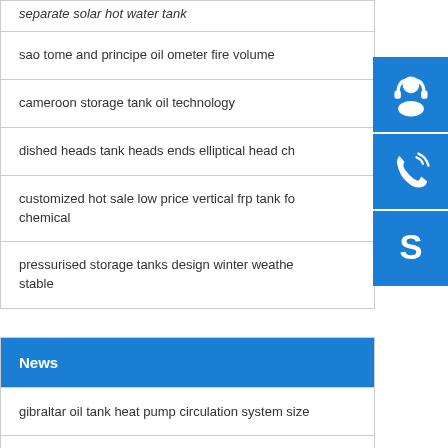separate solar hot water tank
sao tome and principe oil ometer fire volume
cameroon storage tank oil technology
dished heads tank heads ends elliptical head ch...
customized hot sale low price vertical frp tank fo... chemical
pressurised storage tanks design winter weathe... stable
News
gibraltar oil tank heat pump circulation system size
[Figure (illustration): Three blue icon buttons on the right sidebar: a customer service/headset icon, a phone/call icon, and a Skype icon]
(next item partially visible)